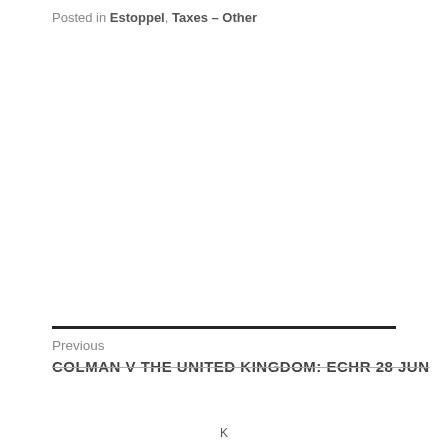Posted in Estoppel, Taxes – Other
Previous
COLMAN V THE UNITED KINGDOM: ECHR 28 JUN
K